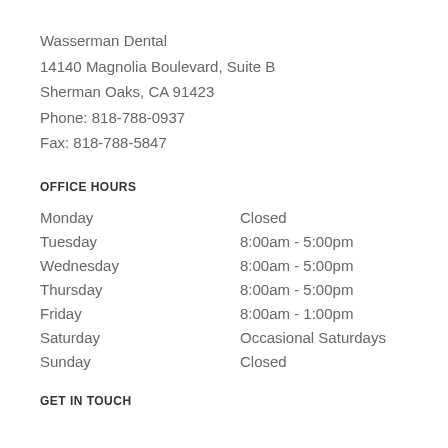Wasserman Dental
14140 Magnolia Boulevard, Suite B
Sherman Oaks, CA 91423
Phone: 818-788-0937
Fax: 818-788-5847
OFFICE HOURS
| Day | Hours |
| --- | --- |
| Monday | Closed |
| Tuesday | 8:00am - 5:00pm |
| Wednesday | 8:00am - 5:00pm |
| Thursday | 8:00am - 5:00pm |
| Friday | 8:00am - 1:00pm |
| Saturday | Occasional Saturdays |
| Sunday | Closed |
GET IN TOUCH